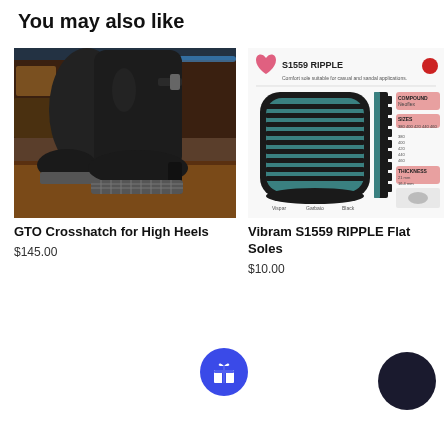You may also like
[Figure (photo): Black leather high-heel boots photographed from the side, showing the crosshatch sole pattern, displayed in a shop setting]
[Figure (photo): Vibram S1559 RIPPLE flat soles product sheet showing teal/green and black sole from top and side view, with specifications for compound (Neoflex), sizes (380, 400, 420, 440, 460) and thickness (21mm, 16.4mm)]
GTO Crosshatch for High Heels
$145.00
Vibram S1559 RIPPLE Flat Soles
$10.00